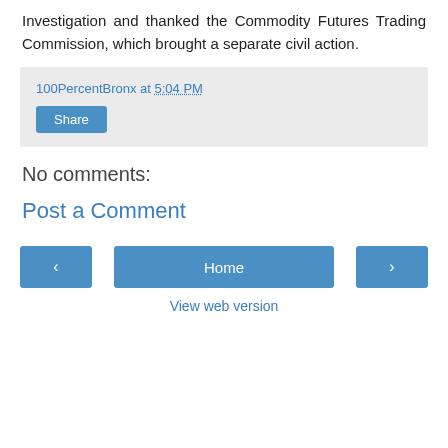Investigation and thanked the Commodity Futures Trading Commission, which brought a separate civil action.
100PercentBronx at 5:04 PM
Share
No comments:
Post a Comment
‹
Home
›
View web version